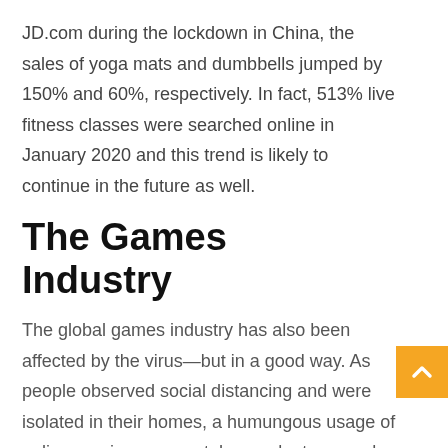JD.com during the lockdown in China, the sales of yoga mats and dumbbells jumped by 150% and 60%, respectively. In fact, 513% live fitness classes were searched online in January 2020 and this trend is likely to continue in the future as well.
The Games Industry
The global games industry has also been affected by the virus—but in a good way. As people observed social distancing and were isolated in their homes, a humungous usage of online gaming on smartphones, laptops, and iPads was seen. According to statistics